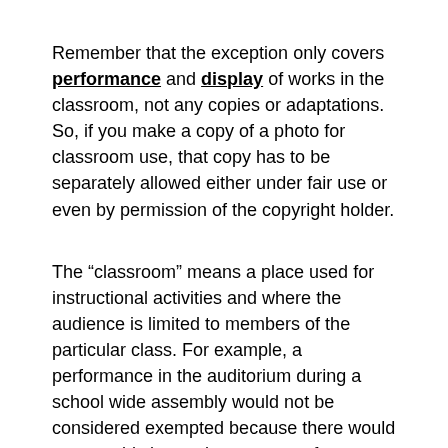Remember that the exception only covers performance and display of works in the classroom, not any copies or adaptations. So, if you make a copy of a photo for classroom use, that copy has to be separately allowed either under fair use or even by permission of the copyright holder.
The “classroom” means a place used for instructional activities and where the audience is limited to members of the particular class. For example, a performance in the auditorium during a school wide assembly would not be considered exempted because there would presumably be students present from different classes. So, if the first graders are watching the same performance as the fourth graders and the sixth graders, the performance would fall outside the scope